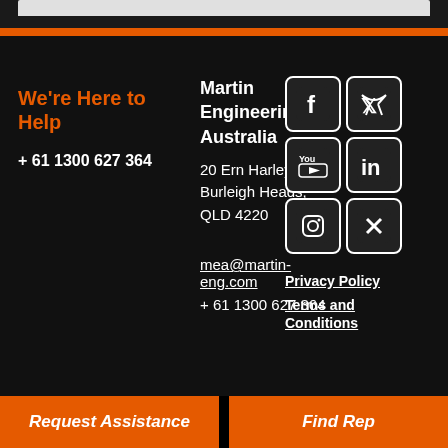We're Here to Help
+ 61 1300 627 364
Martin Engineering Australia
20 Ern Harley Drive Burleigh Heads, QLD 4220
mea@martin-eng.com
+ 61 1300 627 364
[Figure (infographic): Social media icons: Facebook, Twitter, YouTube, LinkedIn, Instagram, X]
Privacy Policy
Terms and Conditions
Request Assistance | Find Rep